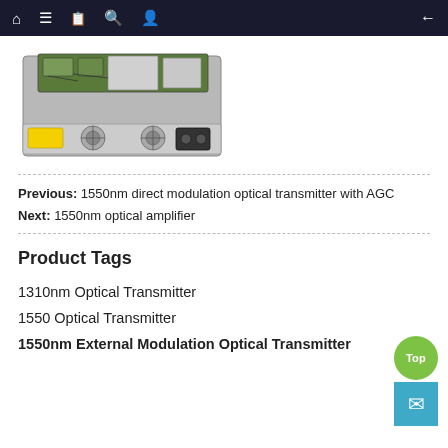Navigation bar with home, menu, book, search, profile icons and back arrow
[Figure (photo): Photo of a 1U rack-mount optical transmitter unit, open chassis showing internal PCBs, power supply, cooling fans, and components. Silver/gray metallic housing with a yellow label on front.]
Previous: 1550nm direct modulation optical transmitter with AGC
Next: 1550nm optical amplifier
Product Tags
1310nm Optical Transmitter
1550 Optical Transmitter
1550nm External Modulation Optical Transmitter